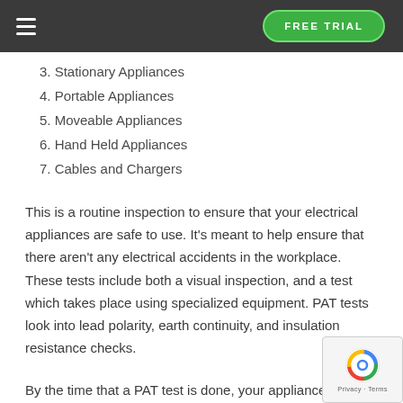FREE TRIAL
3. Stationary Appliances
4. Portable Appliances
5. Moveable Appliances
6. Hand Held Appliances
7. Cables and Chargers
This is a routine inspection to ensure that your electrical appliances are safe to use. It's meant to help ensure that there aren't any electrical accidents in the workplace. These tests include both a visual inspection, and a test which takes place using specialized equipment. PAT tests look into lead polarity, earth continuity, and insulation resistance checks.
By the time that a PAT test is done, your appliances will